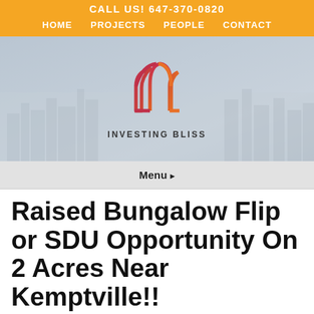CALL US! 647-370-0820
HOME   PROJECTS   PEOPLE   CONTACT
[Figure (logo): Investing Bliss logo: stylized house/arch outline in gradient from red/pink to orange, with text INVESTING BLISS below]
Menu ▾
Raised Bungalow Flip or SDU Opportunity On 2 Acres Near Kemptville!!
ASSIGNED